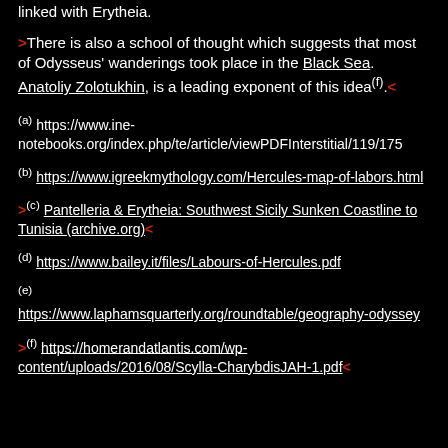linked with Erytheia.
>There is also a school of thought which suggests that most of Odysseus' wanderings took place in the Black Sea. Anatoliy Zolotukhin, is a leading exponent of this idea(f).<
(a) https://www.ine-notebooks.org/index.php/te/article/viewPDFInterstitial/119/175
(b) https://www.igreekmythology.com/Hercules-map-of-labors.html
>(c) Pantelleria & Erytheia: Southwest Sicily Sunken Coastline to Tunisia (archive.org)<
(d) https://www.bailey.it/files/Labours-of-Hercules.pdf
(e) https://www.laphamsquarterly.org/roundtable/geography-odyssey
>(f) https://homerandatlantis.com/wp-content/uploads/2016/08/Scylla-CharybdisJAH-1.pdf<